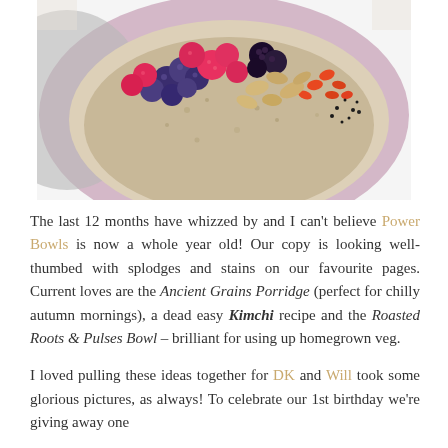[Figure (photo): A bowl of porridge topped with mixed berries (blueberries, raspberries, blackberries), granola, goji berries, and seeds, served in a pink/lilac bowl, photographed from above.]
The last 12 months have whizzed by and I can't believe Power Bowls is now a whole year old! Our copy is looking well-thumbed with splodges and stains on our favourite pages. Current loves are the Ancient Grains Porridge (perfect for chilly autumn mornings), a dead easy Kimchi recipe and the Roasted Roots & Pulses Bowl – brilliant for using up homegrown veg.
I loved pulling these ideas together for DK and Will took some glorious pictures, as always! To celebrate our 1st birthday we're giving away one